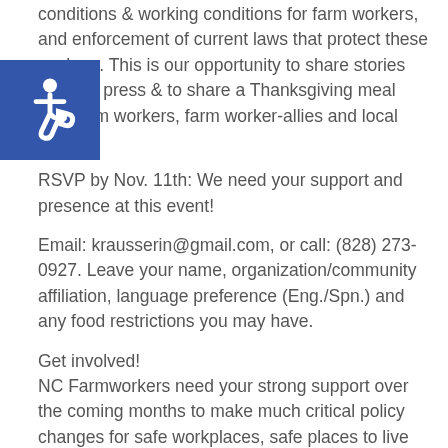conditions & working conditions for farm workers, and enforcement of current laws that protect these workers. This is our opportunity to share stories with the press & to share a Thanksgiving meal with farm workers, farm worker-allies and local media!
RSVP by Nov. 11th: We need your support and presence at this event!
Email: krausserin@gmail.com, or call: (828) 273-0927. Leave your name, organization/community affiliation, language preference (Eng./Spn.) and any food restrictions you may have.
Get involved!
NC Farmworkers need your strong support over the coming months to make much critical policy changes for safe workplaces, safe places to live and stronger enforcement of existing laws.